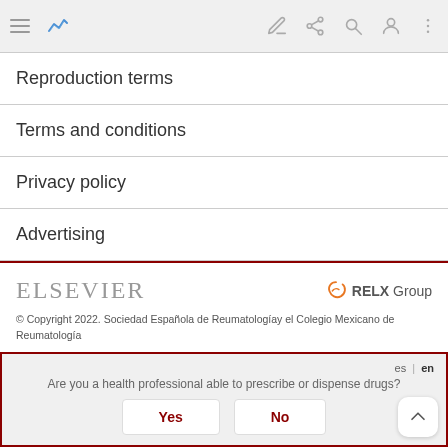Navigation bar with menu, edit, share, search, profile, more icons
Reproduction terms
Terms and conditions
Privacy policy
Advertising
[Figure (logo): ELSEVIER logo (grey, light weight) on the left, RELX Group logo (orange icon + grey text) on the right]
© Copyright 2022. Sociedad Española de Reumatologíay el Colegio Mexicano de Reumatología
Are you a health professional able to prescribe or dispense drugs? es | en — Yes / No buttons